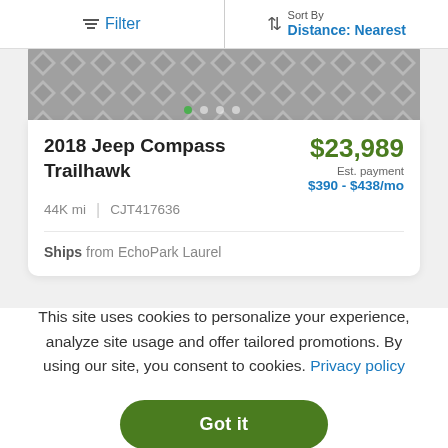Filter | Sort By Distance: Nearest
[Figure (photo): Partial car image with diamond/geometric pattern background and carousel dots]
2018 Jeep Compass Trailhawk
$23,989 Est. payment $390 - $438/mo
44K mi | CJT417636
Ships from EchoPark Laurel
This site uses cookies to personalize your experience, analyze site usage and offer tailored promotions. By using our site, you consent to cookies. Privacy policy
Got it